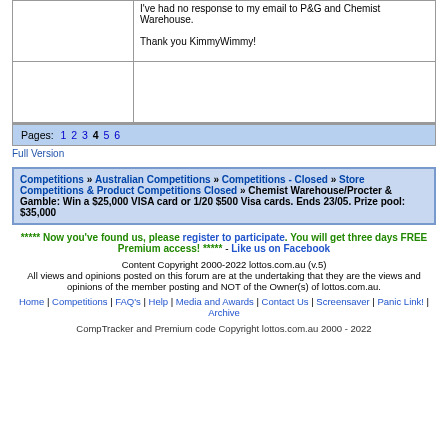I've had no response to my email to P&G and Chemist Warehouse.

Thank you KimmyWimmy!
Pages: 1 2 3 4 5 6
Full Version
Competitions » Australian Competitions » Competitions - Closed » Store Competitions & Product Competitions Closed » Chemist Warehouse/Procter & Gamble: Win a $25,000 VISA card or 1/20 $500 Visa cards. Ends 23/05. Prize pool: $35,000
***** Now you've found us, please register to participate. You will get three days FREE Premium access! ***** - Like us on Facebook
Content Copyright 2000-2022 lottos.com.au (v.5)
All views and opinions posted on this forum are at the undertaking that they are the views and opinions of the member posting and NOT of the Owner(s) of lottos.com.au.
Home | Competitions | FAQ's | Help | Media and Awards | Contact Us | Screensaver | Panic Link! | Archive
CompTracker and Premium code Copyright lottos.com.au 2000 - 2022